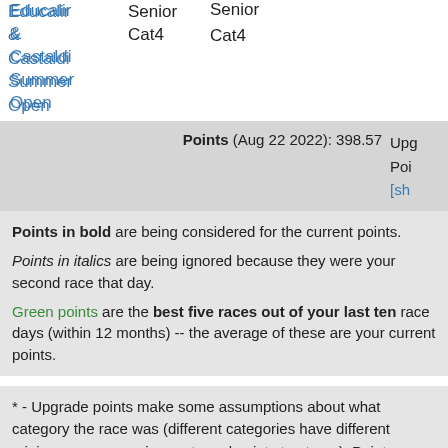Educalir & Castaldi Summer Open  Senior Cat4
| Points (Aug 22 2022): 398.57 | Upg Poi [sh |
| --- | --- |
Points in bold are being considered for the current points. Points in italics are being ignored because they were your second race that day. Green points are the best five races out of your last ten race days (within 12 months) -- the average of these are your current points.
* - Upgrade points make some assumptions about what category the race was (different categories have different minimum racer requirements and point structures). Points are based off of information found here. As with any other metadata on this site, this